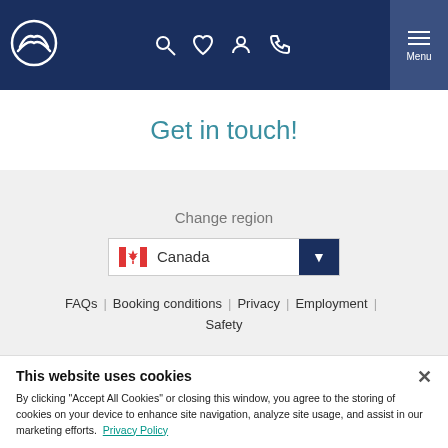Navigation header with logo, search, wishlist, account, phone icons, and Menu button
Get in touch!
Change region
Canada (region selector dropdown)
FAQs | Booking conditions | Privacy | Employment | Safety
This website uses cookies
By clicking "Accept All Cookies" or closing this window, you agree to the storing of cookies on your device to enhance site navigation, analyze site usage, and assist in our marketing efforts. Privacy Policy
Cookies Settings
Accept All Cookies